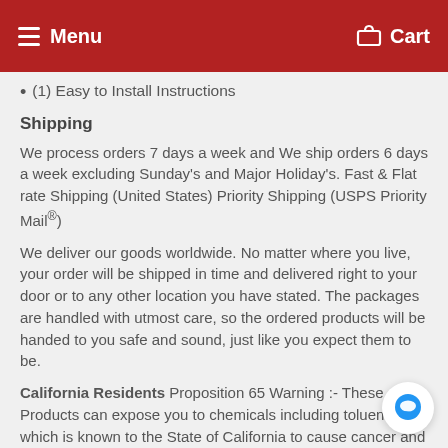Menu   Cart
(1) Easy to Install Instructions
Shipping
We process orders 7 days a week and We ship orders 6 days a week excluding Sunday's and Major Holiday's. Fast & Flat rate Shipping (United States) Priority Shipping (USPS Priority Mail®)
We deliver our goods worldwide. No matter where you live, your order will be shipped in time and delivered right to your door or to any other location you have stated. The packages are handled with utmost care, so the ordered products will be handed to you safe and sound, just like you expect them to be.
California Residents Proposition 65 Warning :- These Products can expose you to chemicals including toluene, which is known to the State of California to cause cancer and birth defects or other reproductive harm. For more information, go to www.P65Warnings.ca.gov